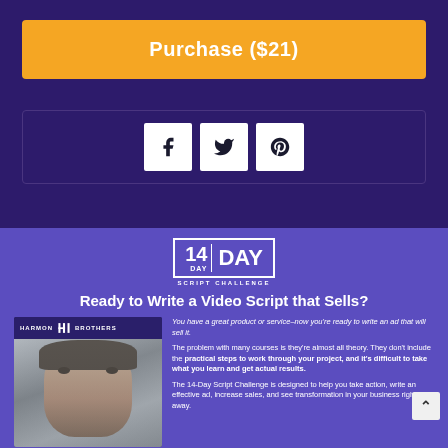Purchase ($21)
[Figure (infographic): Social share buttons: Facebook (f), Twitter (bird), Pinterest (p) icons in white boxes on dark purple background]
[Figure (infographic): 14 Day Script Challenge promotional section on purple background. Includes Harmon Brothers logo, headline 'Ready to Write a Video Script that Sells?', video thumbnail of a man, and descriptive text about the course]
Ready to Write a Video Script that Sells?
You have a great product or service–now you're ready to write an ad that will sell it. The problem with many courses is they're almost all theory. They don't include the practical steps to work through your project, and it's difficult to take what you learn and get actual results. The 14-Day Script Challenge is designed to help you take action, write an effective ad, increase sales, and see transformation in your business right away.